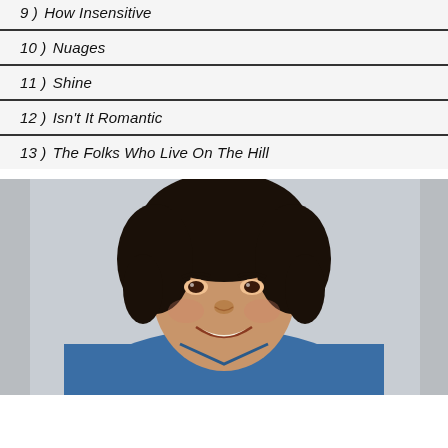9 ) How Insensitive
10 ) Nuages
11 ) Shine
12 ) Isn't It Romantic
13 ) The Folks Who Live On The Hill
[Figure (photo): A smiling man with dark curly hair wearing a blue shirt, photographed against a light gray background]